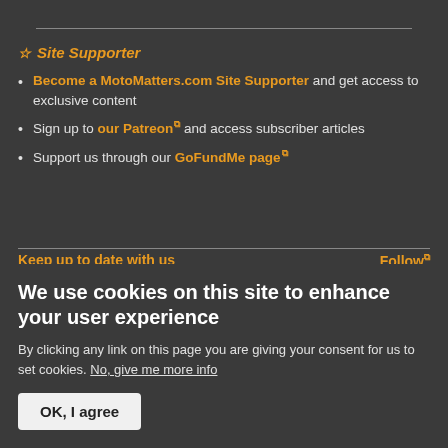☆ Site Supporter
Become a MotoMatters.com Site Supporter and get access to exclusive content
Sign up to our Patreon and access subscriber articles
Support us through our GoFundMe page
Keep up to date with us
Follow
Get new posts by email:
We use cookies on this site to enhance your user experience
By clicking any link on this page you are giving your consent for us to set cookies. No, give me more info
OK, I agree